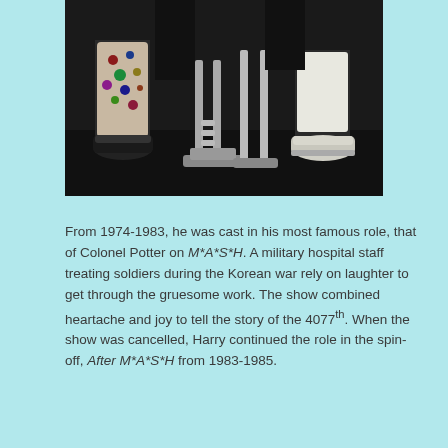[Figure (photo): A dark photograph showing the lower legs and feet of musicians near drum equipment on a stage. One person wears patterned socks with sneakers, another wears white socks with white shoes.]
From 1974-1983, he was cast in his most famous role, that of Colonel Potter on M*A*S*H. A military hospital staff treating soldiers during the Korean war rely on laughter to get through the gruesome work. The show combined heartache and joy to tell the story of the 4077th. When the show was cancelled, Harry continued the role in the spin-off, After M*A*S*H from 1983-1985.